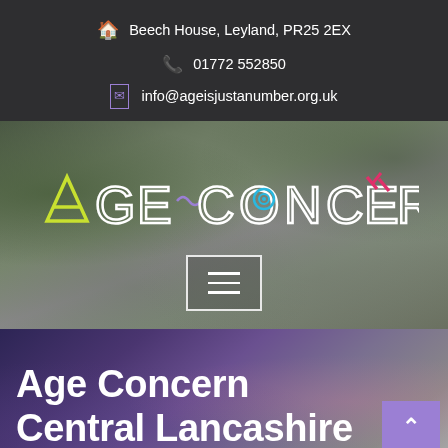Beech House, Leyland, PR25 2EX | 01772 552850 | info@ageisjustanumber.org.uk
[Figure (logo): Age Concern logo in stylized colorful text on a blurred outdoor background, with a hamburger menu button below]
Age Concern Central Lancashire